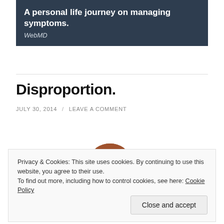[Figure (screenshot): Dark blue-grey banner with text overlay showing 'A personal life journey on managing symptoms.' and 'WebMD', with a background image of dark round objects (possibly coins or stones)]
Disproportion.
JULY 30, 2014 / LEAVE A COMMENT
[Figure (photo): Partially visible image of a brown cookie at the bottom of the page, partially obscured by cookie consent banner]
Privacy & Cookies: This site uses cookies. By continuing to use this website, you agree to their use.
To find out more, including how to control cookies, see here: Cookie Policy